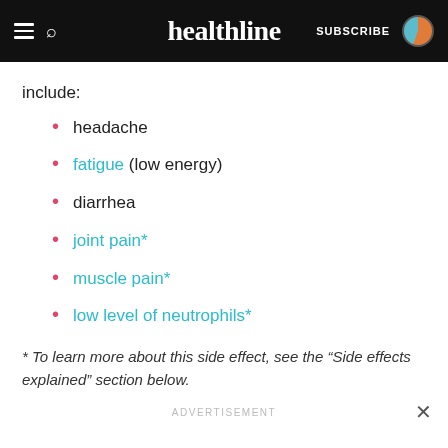healthline
include:
headache
fatigue (low energy)
diarrhea
joint pain*
muscle pain*
low level of neutrophils*
* To learn more about this side effect, see the “Side effects explained” section below.
ADVERTISEMENT